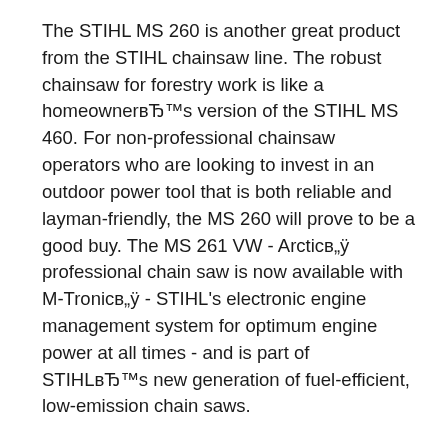The STIHL MS 260 is another great product from the STIHL chainsaw line. The robust chainsaw for forestry work is like a homeownerвЂ™s version of the STIHL MS 460. For non-professional chainsaw operators who are looking to invest in an outdoor power tool that is both reliable and layman-friendly, the MS 260 will prove to be a good buy. The MS 261 VW - ArcticвЂ„ÿ professional chain saw is now available with M-TronicвЂ„ÿ - STIHL's electronic engine management system for optimum engine power at all times - and is part of STIHLвЂ™s new generation of fuel-efficient, low-emission chain saws.